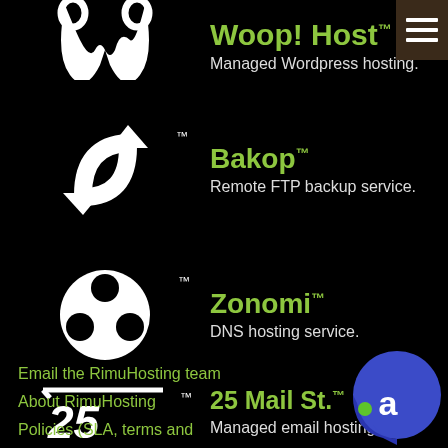Woop! Host™ — Managed Wordpress hosting.
[Figure (logo): Woop Host logo — white swirl 'w' icon on black, partially cropped at top]
Bakop™ — Remote FTP backup service.
[Figure (logo): Bakop logo — white arrows cycling in a loop pattern]
Zonomi™ — DNS hosting service.
[Figure (logo): Zonomi logo — white circle with three black dots forming a triangle]
25 Mail St.™ — Managed email hosting.
[Figure (logo): 25 Mail St logo — stylized '25' with a line above]
Email the RimuHosting team
About RimuHosting
Policies (SLA, terms and
[Figure (logo): Blue teardrop/speech-bubble chat icon with white 'a' letter and green dot]